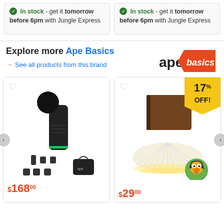In stock - get it tomorrow before 6pm with Jungle Express
In stock - get it tomorrow before 6pm with Jungle Express
Explore more Ape Basics
→ See all products from this brand
[Figure (logo): Ape Basics brand logo with orange triangle badge]
[Figure (photo): Massage gun device with accessories and carry case]
[Figure (photo): Book-shaped folding LED lamp, open and lit]
$168.00
$29.00